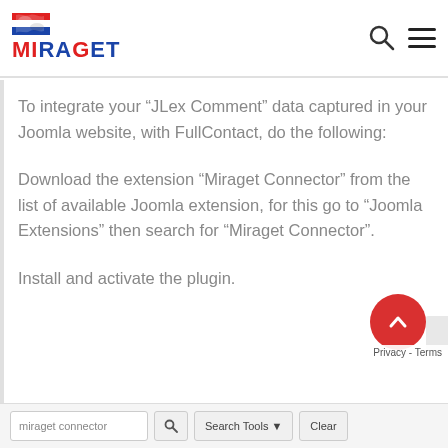[Figure (logo): Miraget logo with flag graphic and red/blue text]
To integrate your “JLex Comment” data captured in your Joomla website, with FullContact, do the following:
Download the extension “Miraget Connector” from the list of available Joomla extension, for this go to “Joomla Extensions” then search for “Miraget Connector”.
Install and activate the plugin.
miraget connector  [search icon]  Search Tools ▾  Clear  |  Privacy - Terms